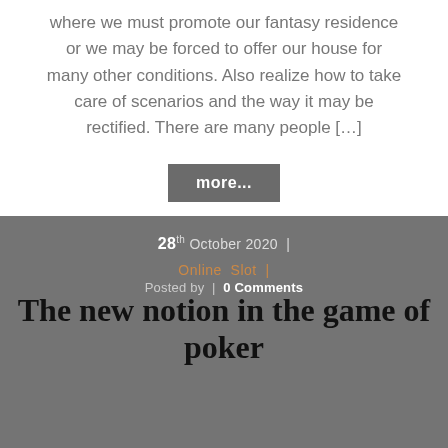where we must promote our fantasy residence or we may be forced to offer our house for many other conditions. Also realize how to take care of scenarios and the way it may be rectified. There are many people […]
more...
28th October 2020 |
Online Slot |
The new notion in the game of poker
Posted by | 0 Comments